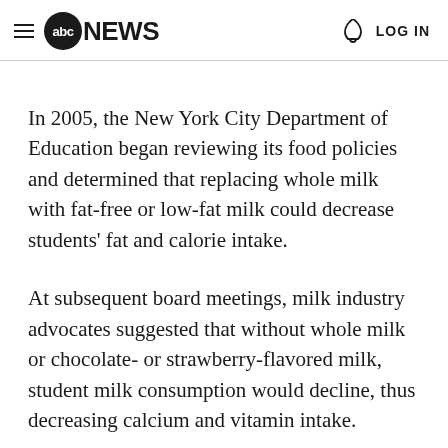abc NEWS  LOG IN
In 2005, the New York City Department of Education began reviewing its food policies and determined that replacing whole milk with fat-free or low-fat milk could decrease students' fat and calorie intake.
At subsequent board meetings, milk industry advocates suggested that without whole milk or chocolate- or strawberry-flavored milk, student milk consumption would decline, thus decreasing calcium and vitamin intake.